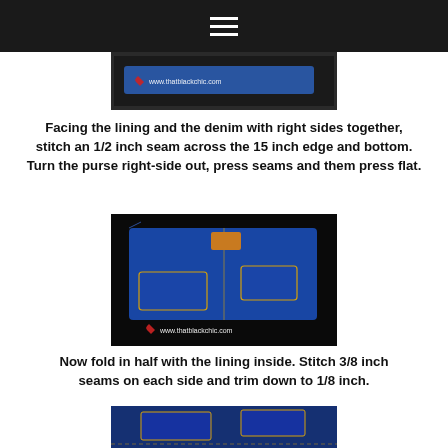[Figure (photo): Photo of denim fabric strip with www.thatblackchic.com watermark]
Facing the lining and the denim with right sides together, stitch an 1/2 inch seam across the 15 inch edge and bottom. Turn the purse right-side out, press seams and them press flat.
[Figure (photo): Photo of denim purse piece laid flat showing pockets and stitching, with www.thatblackchic.com watermark]
Now fold in half with the lining inside. Stitch 3/8 inch seams on each side and trim down to 1/8 inch.
[Figure (photo): Photo of denim pocket detail, partially visible at bottom of page]